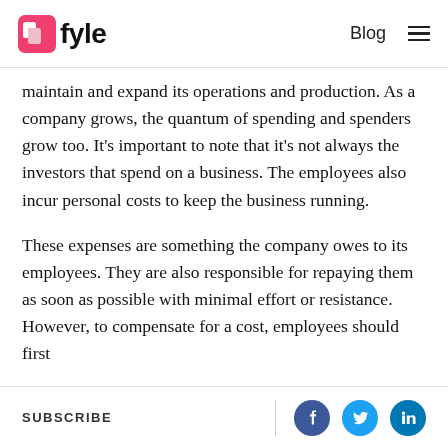Fyle | Blog
maintain and expand its operations and production. As a company grows, the quantum of spending and spenders grow too. It's important to note that it's not always the investors that spend on a business. The employees also incur personal costs to keep the business running.
These expenses are something the company owes to its employees. They are also responsible for repaying them as soon as possible with minimal effort or resistance. However, to compensate for a cost, employees should first
SUBSCRIBE